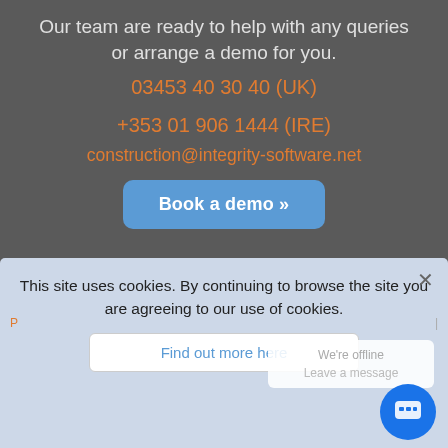Our team are ready to help with any queries or arrange a demo for you.
03453 40 30 40 (UK)
+353 01 906 1444 (IRE)
construction@integrity-software.net
Book a demo »
[Figure (logo): Twitter, LinkedIn, and YouTube social media icons]
This site uses cookies. By continuing to browse the site you are agreeing to our use of cookies.
Find out more here
We're offline
Leave a message